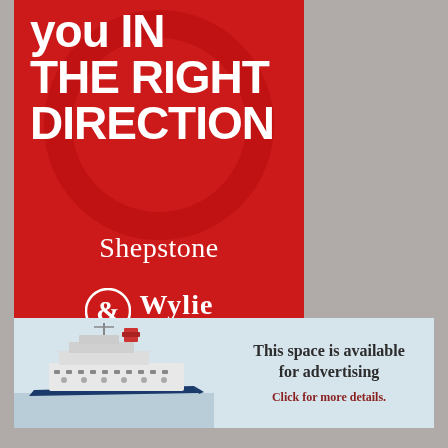[Figure (illustration): Red advertisement banner for Shepstone & Wylie Attorneys with bold white text 'you IN THE RIGHT DIRECTION' and the firm's logo at the bottom on a red background with a large circular watermark element.]
[Figure (illustration): Light blue banner with a photo of a ship/cruise vessel on the left side, and text on the right reading 'This space is available for advertising' with 'Click for more details.' below in red.]